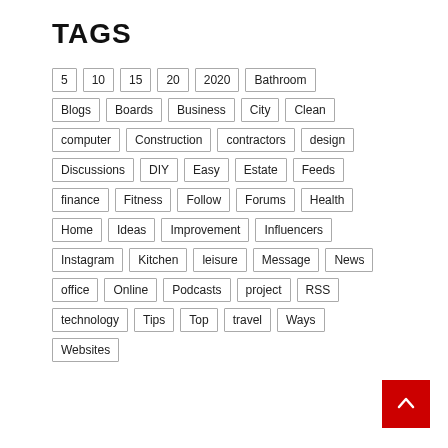TAGS
5
10
15
20
2020
Bathroom
Blogs
Boards
Business
City
Clean
computer
Construction
contractors
design
Discussions
DIY
Easy
Estate
Feeds
finance
Fitness
Follow
Forums
Health
Home
Ideas
Improvement
Influencers
Instagram
Kitchen
leisure
Message
News
office
Online
Podcasts
project
RSS
technology
Tips
Top
travel
Ways
Websites